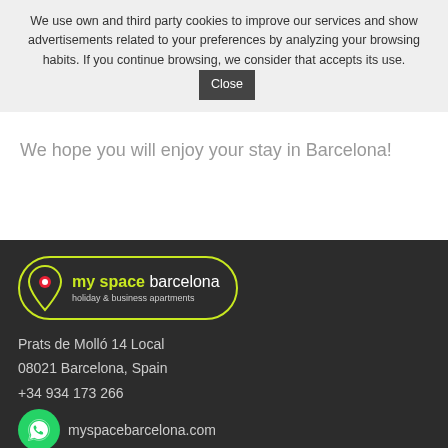We use own and third party cookies to improve our services and show advertisements related to your preferences by analyzing your browsing habits. If you continue browsing, we consider that accepts its use. Close
We hope you will enjoy your stay in Barcelona!
[Figure (logo): My Space Barcelona logo with map pin icon, green border, text 'my space barcelona holiday & business apartments']
Prats de Molló 14 Local
08021 Barcelona, Spain
+34 934 173 266
myspacebarcelona.com
Working hours